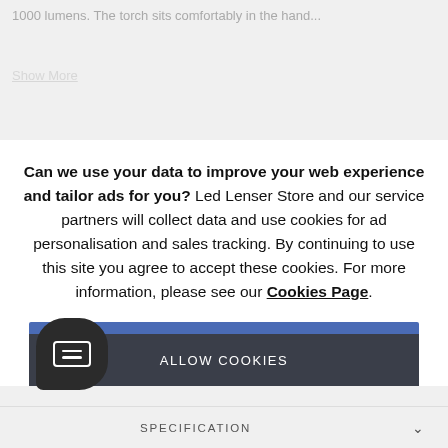1000 lumens. The torch sits comfortably in the hand...
Show More
Can we use your data to improve your web experience and tailor ads for you? Led Lenser Store and our service partners will collect data and use cookies for ad personalisation and sales tracking. By continuing to use this site you agree to accept these cookies. For more information, please see our Cookies Page.
ALLOW COOKIES
ADD TO BASKET
[Figure (logo): LED Lenser circular logo with text LEDLENSER]
[Figure (other): Chat widget button - dark rounded square with chat lines icon]
SPECIFICATION